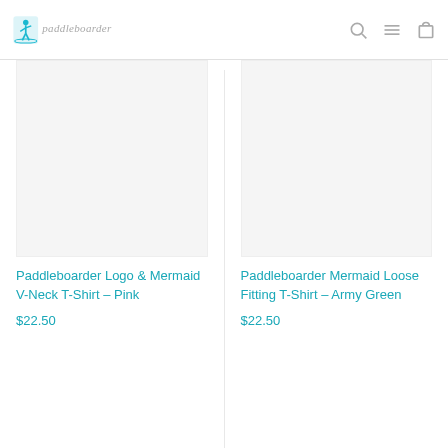[Figure (logo): Paddleboarder logo with stylized blue figure on paddleboard and italic text 'paddleboarder']
[Figure (other): White product image area for Paddleboarder Logo & Mermaid V-Neck T-Shirt - Pink]
Paddleboarder Logo & Mermaid V-Neck T-Shirt - Pink
$22.50
[Figure (other): White product image area for Paddleboarder Mermaid Loose Fitting T-Shirt - Army Green]
Paddleboarder Mermaid Loose Fitting T-Shirt - Army Green
$22.50